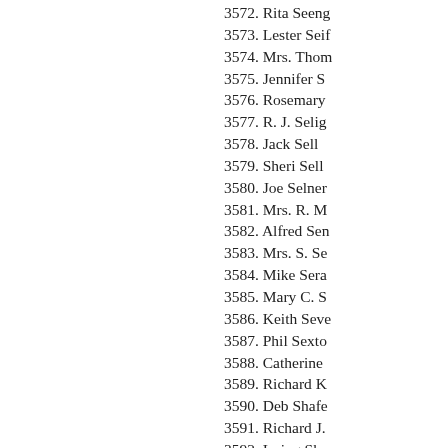3572. Rita Seeng
3573. Lester Seif
3574. Mrs. Thom
3575. Jennifer S
3576. Rosemary
3577. R. J. Selig
3578. Jack Sell
3579. Sheri Sell
3580. Joe Selner
3581. Mrs. R. M
3582. Alfred Sen
3583. Mrs. S. Se
3584. Mike Sera
3585. Mary C. S
3586. Keith Seve
3587. Phil Sexto
3588. Catherine
3589. Richard K
3590. Deb Shafe
3591. Richard J.
3592. Irving Sha
3593. Sharon Sh
3594. Ron Shape
3595. Mrs. Alber
3596. Kevin A. S
3597. Norman R
3598. Aaron J. S
3599. Ann Sharp
3600. Harry Sha